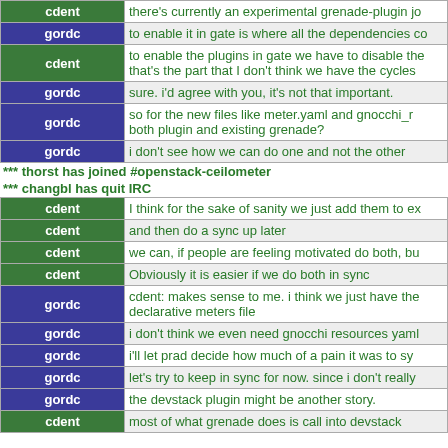| nick | message |
| --- | --- |
| cdent | there's currently an experimental grenade-plugin jo |
| gordc | to enable it in gate is where all the dependencies co |
| cdent | to enable the plugins in gate we have to disable the
that's the part that I don't think we have the cycles |
| gordc | sure. i'd agree with you, it's not that important. |
| gordc | so for the new files like meter.yaml and gnocchi_r
both plugin and existing grenade? |
| gordc | i don't see how we can do one and not the other |
| cdent | I think for the sake of sanity we just add them to ex |
| cdent | and then do a sync up later |
| cdent | we can, if people are feeling motivated do both, bu |
| cdent | Obviously it is easier if we do both in sync |
| gordc | cdent: makes sense to me. i think we just have the
declarative meters file |
| gordc | i don't think we even need gnocchi resources yaml |
| gordc | i'll let prad decide how much of a pain it was to sy |
| gordc | let's try to keep in sync for now. since i don't really |
| gordc | the devstack plugin might be another story. |
| cdent | most of what grenade does is call into devstack |
*** thorst has joined #openstack-ceilometer
*** changbl has quit IRC